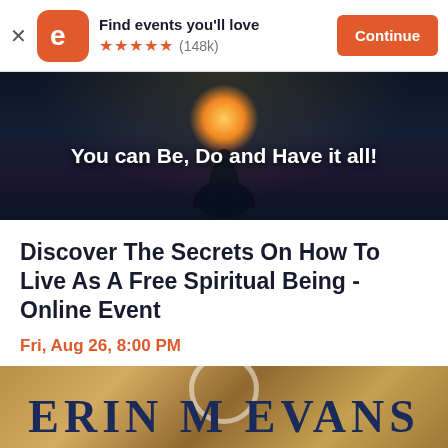Find events you'll love ★★★★★ (148k) Continue
[Figure (screenshot): Eventbrite app banner with orange logo, star ratings (148k), and Continue button]
[Figure (photo): Dark blue meditation hero image with glowing orange center light and text 'You can Be, Do and Have it all!']
Discover The Secrets On How To Live As A Free Spiritual Being -Online Event
Fri, Aug 26, 8:00 PM
Seattle 98101 • Seattle, WA
Free
[Figure (photo): Bottom portion showing 'ERIN M EVANS' text on a map-like textured background with a ring/circle symbol above]